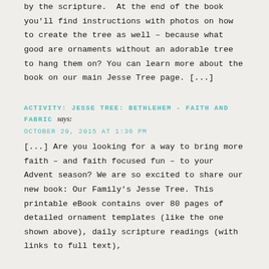by the scripture.  At the end of the book you'll find instructions with photos on how to create the tree as well – because what good are ornaments without an adorable tree to hang them on? You can learn more about the book on our main Jesse Tree page. [...]
ACTIVITY: JESSE TREE: BETHLEHEM - FAITH AND FABRIC says:
OCTOBER 29, 2015 AT 1:36 PM
[...] Are you looking for a way to bring more faith – and faith focused fun – to your Advent season? We are so excited to share our new book: Our Family's Jesse Tree. This printable eBook contains over 80 pages of detailed ornament templates (like the one shown above), daily scripture readings (with links to full text),